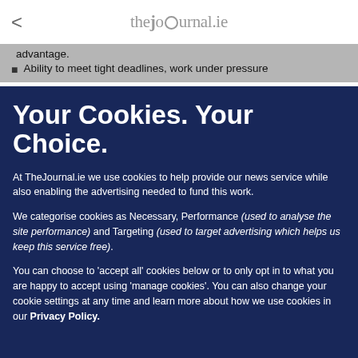thejournal.ie
advantage.
Ability to meet tight deadlines, work under pressure
Your Cookies. Your Choice.
At TheJournal.ie we use cookies to help provide our news service while also enabling the advertising needed to fund this work.
We categorise cookies as Necessary, Performance (used to analyse the site performance) and Targeting (used to target advertising which helps us keep this service free).
You can choose to 'accept all' cookies below or to only opt in to what you are happy to accept using 'manage cookies'. You can also change your cookie settings at any time and learn more about how we use cookies in our Privacy Policy.